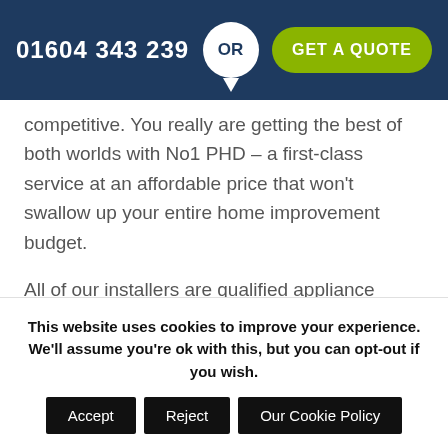01604 343 239  OR  GET A QUOTE
competitive. You really are getting the best of both worlds with No1 PHD – a first-class service at an affordable price that won't swallow up your entire home improvement budget.
All of our installers are qualified appliance professionals who possess many years of experience and have received all of the necessary industry qualifications to legally and safely work at your property. We have
This website uses cookies to improve your experience. We'll assume you're ok with this, but you can opt-out if you wish.